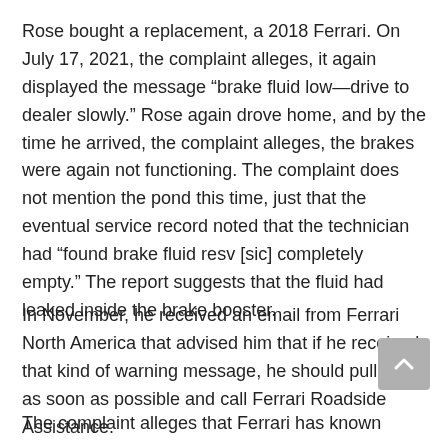Rose bought a replacement, a 2018 Ferrari. On July 17, 2021, the complaint alleges, it again displayed the message “brake fluid low—drive to dealer slowly.” Rose again drove home, and by the time he arrived, the complaint alleges, the brakes were again not functioning. The complaint does not mention the pond this time, just that the eventual service record noted that the technician had “found brake fluid resv [sic] completely empty.” The report suggests that the fluid had leaked inside the brake booster.
In November, he received an email from Ferrari North America that advised him that if he received that kind of warning message, he should pull over as soon as possible and call Ferrari Roadside Assistance.
The complaint alleges that Ferrari has known